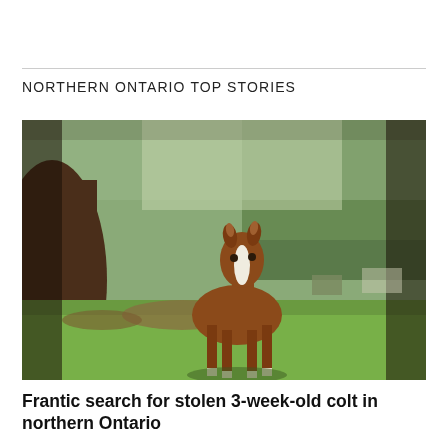NORTHERN ONTARIO TOP STORIES
[Figure (photo): A young brown foal with a white blaze on its face standing in a green grassy field, looking directly at the camera. A larger brown horse is partially visible on the left edge. Trees are in the background.]
Frantic search for stolen 3-week-old colt in northern Ontario